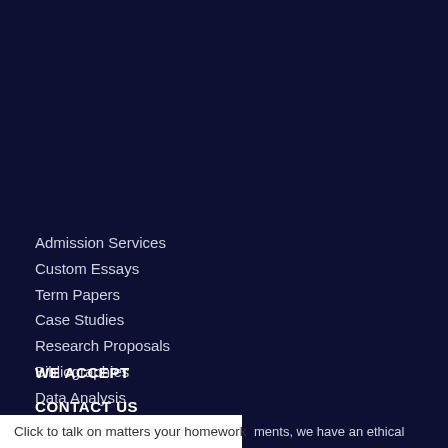Admission Services
Custom Essays
Term Papers
Case Studies
Research Proposals
Bibliographies
Data Analysis
Coursework Help
WE ACCEPT
CONTACT US
Click to talk on matters your homework
ments, we have an ethical